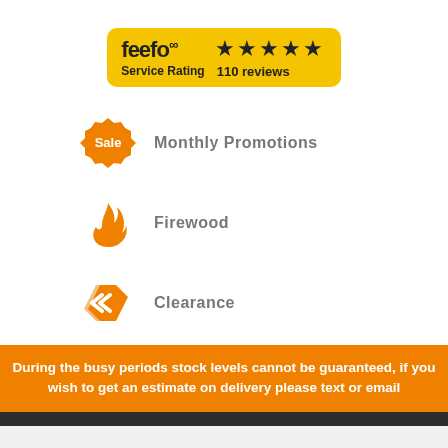[Figure (logo): Feefo service rating badge with 5 stars and 110 reviews on yellow background]
[Figure (infographic): Orange sale badge icon with text 'Monthly Promotions']
[Figure (infographic): Orange flame icon with text 'Firewood']
[Figure (infographic): Orange price tag icon with text 'Clearance']
During the busy periods stock levels cannot be guaranteed, if you wish to get an estimate on delivery please text or email
PARKRAY CONSORT 5 SLIMLINE WOODBURNING SPARE PARTS